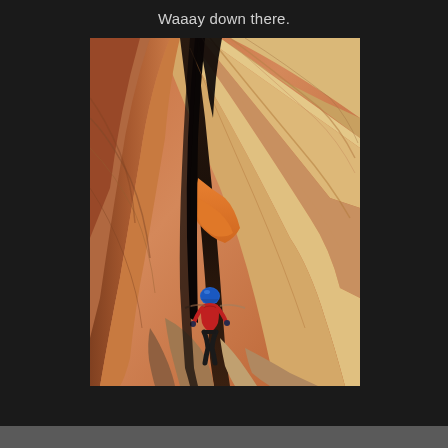Waaay down there.
[Figure (photo): Aerial/overhead view looking down into a narrow slot canyon with smooth sandstone walls in shades of orange, pink, and tan. A person wearing a blue helmet and red jacket is visible far below at the bottom of the canyon, illustrating the extreme depth of the slot canyon.]